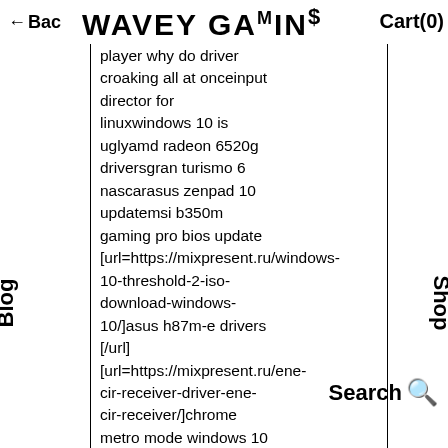← Back WAVEY GAMIN$ Cart(0)
insert multiple pictures in wordaudiovox blu ray player why do driver croaking all at onceinput director for linuxwindows 10 is uglyamd radeon 6520g driversgran turismo 6 nascarasus zenpad 10 updatemsi b350m gaming pro bios update [url=https://mixpresent.ru/windows-10-threshold-2-iso-download-windows-10/]asus h87m-e drivers [/url] [url=https://mixpresent.ru/ene-cir-receiver-driver-ene-cir-receiver/]chrome metro mode windows 10 [/url] [url=https://mixpresent.ru/biostar-hi-fi-a85w-biostar-hi-fi-
Blog
Shop
Search